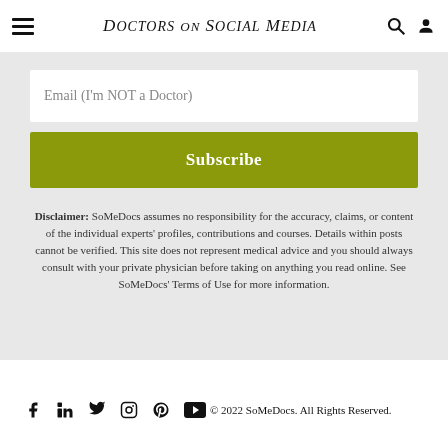Doctors on Social Media
Email (I'm NOT a Doctor)
Subscribe
Disclaimer: SoMeDocs assumes no responsibility for the accuracy, claims, or content of the individual experts' profiles, contributions and courses. Details within posts cannot be verified. This site does not represent medical advice and you should always consult with your private physician before taking on anything you read online. See SoMeDocs' Terms of Use for more information.
© 2022 SoMeDocs. All Rights Reserved.